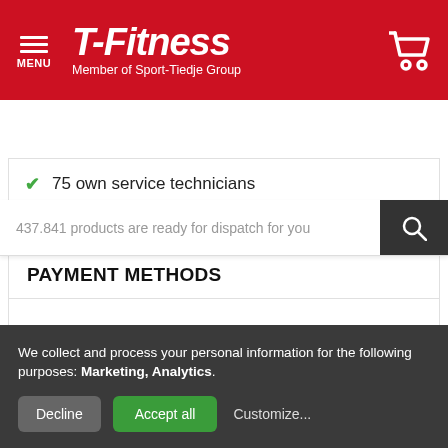[Figure (logo): T-Fitness logo with menu icon, brand name and Member of Sport-Tiedje Group tagline, cart icon on red header background]
437.841 products are ready for dispatch for you
75 own service technicians
PAYMENT METHODS
[Figure (other): Two loading spinner circles shown as payment method logos loading]
We collect and process your personal information for the following purposes: Marketing, Analytics.
Decline
Accept all
Customize...